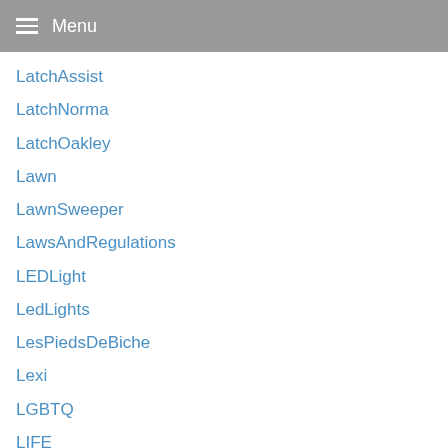Menu
LatchAssist
LatchNorma
LatchOakley
Lawn
LawnSweeper
LawsAndRegulations
LEDLight
LedLights
LesPiedsDeBiche
Lexi
LGBTQ
LIFE
Lifestyle
LifestyleMedicine
light
LightsBand
LightsForAll